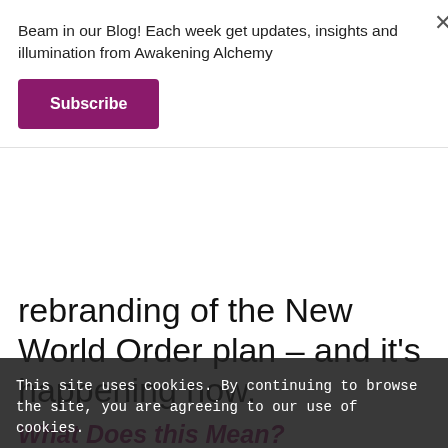Beam in our Blog! Each week get updates, insights and illumination from Awakening Alchemy
Subscribe
rebranding of the New World Order plan – and it's happening now.
What Does this Mean?
Well, they [all the big banking cartels] are going to use the Global Reset as per 2030 agenda, council, this will be worse for us not them – remember they were bailed out by us, the tax-payers. This time, in Europe, at least,
This site uses cookies. By continuing to browse the site, you are agreeing to our use of cookies.
OK
Learn more